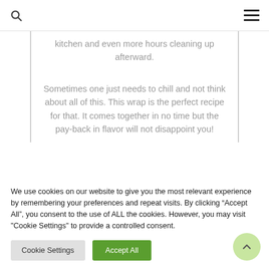kitchen and even more hours cleaning up afterward.
Sometimes one just needs to chill and not think about all of this. This wrap is the perfect recipe for that. It comes together in no time but the pay-back in flavor will not disappoint you!
We use cookies on our website to give you the most relevant experience by remembering your preferences and repeat visits. By clicking “Accept All”, you consent to the use of ALL the cookies. However, you may visit "Cookie Settings" to provide a controlled consent.